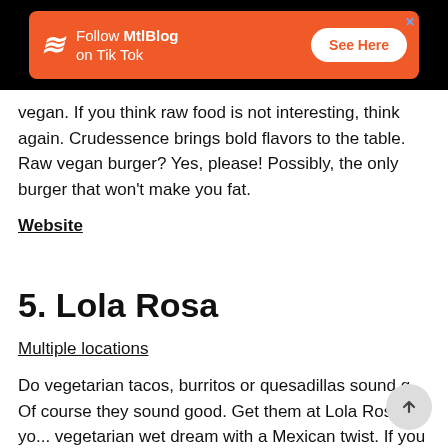[Figure (other): Orange advertisement banner for MtlBlog on TikTok with a 'See Here' button and stylized Z logo on black background]
vegan. If you think raw food is not interesting, think again. Crudessence brings bold flavors to the table. Raw vegan burger? Yes, please! Possibly, the only burger that won't make you fat.
Website
5. Lola Rosa
Multiple locations
Do vegetarian tacos, burritos or quesadillas sound g... Of course they sound good. Get them at Lola Rosa, you... vegetarian wet dream with a Mexican twist. If you want to be super healthy though, order their soup of the day, can't